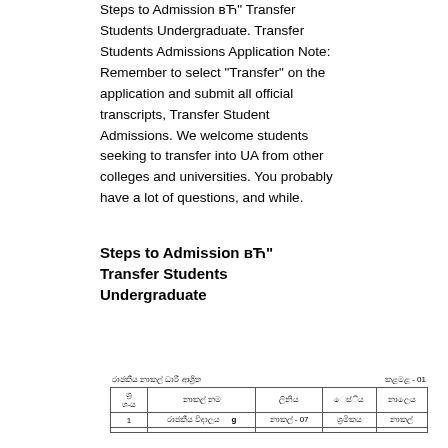Steps to Admission вЋ" Transfer Students Undergraduate. Transfer Students Admissions Application Note: Remember to select "Transfer" on the application and submit all official transcripts, Transfer Student Admissions. We welcome students seeking to transfer into UA from other colleges and universities. You probably have a lot of questions, and while.
Steps to Admission вЋ" Transfer Students Undergraduate
| ශ්‍ර
දාය | නාකල් නම | ලිනිය | ෙස්ිය | නාලෙය |
| --- | --- | --- | --- | --- |
| 1 | රාජකීය විදාලය  g | නාකල් - 07 | ශ්‍රමිකය | නාකල් |